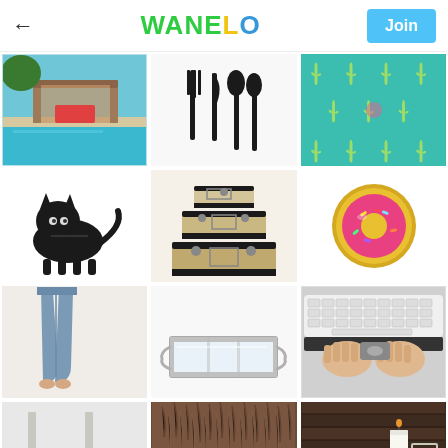WANELO — Join
[Figure (screenshot): Wanelo shopping app screenshot showing a grid of product images: modern outdoor lounge structure by a pool, black cutlery set, teal cactus pattern fabric, black cat figurine, stacked storage trunks, pink donut pin, blue yoga leggings, glass decorative tray, hands typing on a white keyboard, metallic bookends, brown fur fabric swatch, wooden floor with white candle and picture frame]
[Figure (photo): Modern outdoor lounge or cabana structure beside a pool]
[Figure (photo): Black cutlery set with fork, knife, and two spoons]
[Figure (photo): Teal fabric with yellow cactus pattern]
[Figure (photo): Black cat figurine/doorstop]
[Figure (photo): Set of three stacked storage trunks/suitcases]
[Figure (photo): Pink donut enamel pin with gold accents]
[Figure (photo): Blue/slate yoga capri leggings on model]
[Figure (photo): Glass and chrome rectangular decorative tray]
[Figure (photo): Hands using a device below white Apple keyboard]
[Figure (photo): Metallic bookends]
[Figure (photo): Brown fluffy/fur fabric]
[Figure (photo): Dark wood floor with white candle and picture frame]